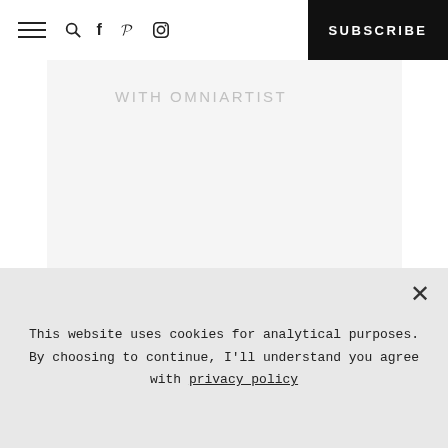Menu | Search | Facebook | Pinterest | Instagram | SUBSCRIBE
[Figure (other): Partially visible grey card with faded uppercase text at top]
[Figure (other): User profile card with avatar icon, name ASMR, and URL https://omniartist.tumbl]
This website uses cookies for analytical purposes. By choosing to continue, I'll understand you agree with privacy policy